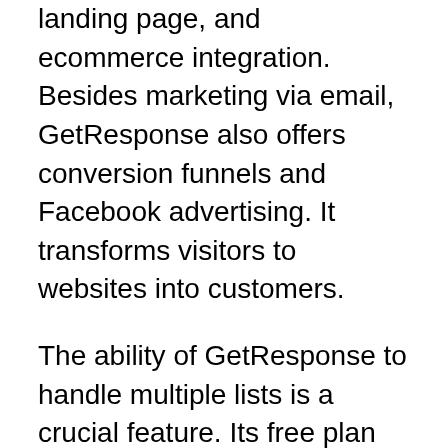landing page, and ecommerce integration. Besides marketing via email, GetResponse also offers conversion funnels and Facebook advertising. It transforms visitors to websites into customers.
The ability of GetResponse to handle multiple lists is a crucial feature. Its free plan covers the fundamentals of marketing via email. There are also plans for free that provide 30 days of service. These plans don't have many options, but they're sufficient to satisfy the basic requirements of email marketing. GetResponse can be integrated with popular ecommerce solutions like Shopify and WordPress. It is also able to integrate with other CRM systems such as GetResult and Highrise.